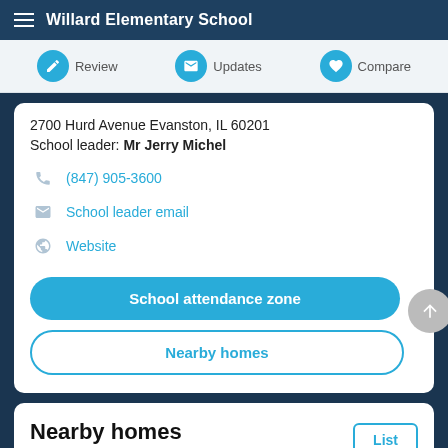Willard Elementary School
Review
Updates
Compare
2700 Hurd Avenue Evanston, IL 60201
School leader: Mr Jerry Michel
(847) 905-3600
School leader email
Website
School attendance zone
Nearby homes
Nearby homes
From Movoto by OJO